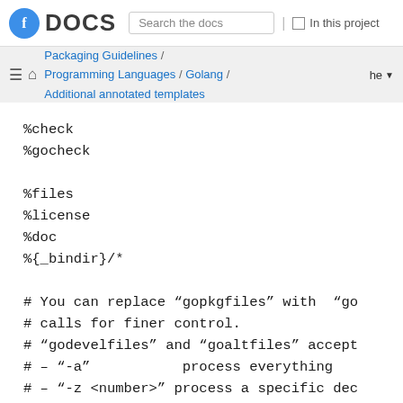DOCS | Search the docs | In this project
Packaging Guidelines / Programming Languages / Golang / Additional annotated templates | he
%check
%gocheck

%files
%license
%doc
%{_bindir}/*

# You can replace “gopkgfiles” with “go
# calls for finer control.
# “godevelfiles” and “goaltfiles” accept
# – “-a”           process everything
# – “-z <number>” process a specific dec
# If no flag is specified they only proc